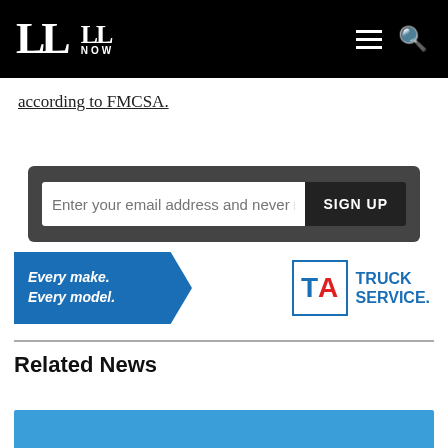LL | LL NOW
according to FMCSA.
[Figure (screenshot): Email newsletter signup box with input field placeholder 'Enter your email address and never m' and a dark SIGN UP button]
[Figure (logo): TA Truck Service advertisement banner with blue chevron shape saying 'Every make. Every model.' and TA Truck Service logo]
Related News